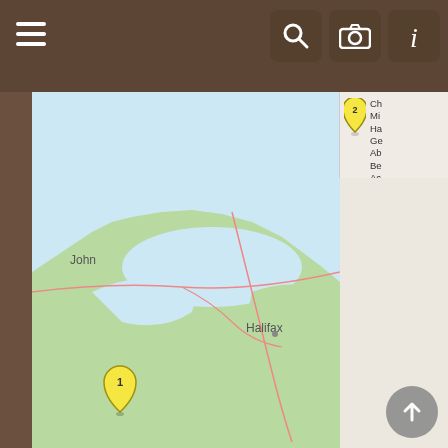[Figure (screenshot): Mobile app screenshot showing a map interface with OpenStreetMap, pin legend, and sources section. Map shows Nova Scotia/Halifax area with numbered yellow pins. Right panel shows partial list entries. Bottom shows pin legend with colored pins for Address, Location, City/Town, County/Shire, State/Province, Country, Not Set. Cookie notice and Sources section visible at bottom.]
Pin Legend
: Address   : Location   : City/Town   : County/Shire
: State/Province   : Country   : Not Set
Note: This site uses cookies.
View policy
Sources
1. [S67] Ancestral File (LDS), (The Church of Jesus Christ of Latter-day Saints), Questionable Source.